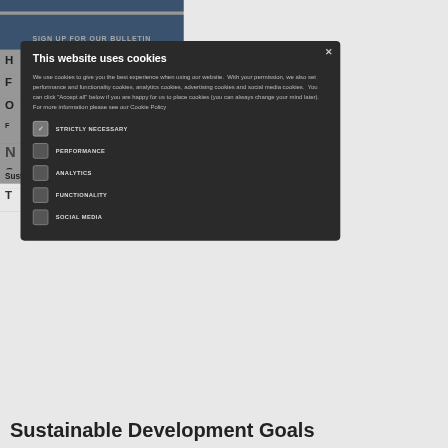[Figure (screenshot): Background website page partially visible behind cookie consent modal, showing blue header bar with text 'SIGN UP FOR OUR BULLETIN', partially visible navigation rows with letters, and footer text 'Sustainable Development Goals']
This website uses cookies
We use cookies to give you the best experience when using our website.  With your permission, we also set performance and functionality cookies, analytics cookies, advertising cookies and social media cookies.  You can click "Accept all" below if you are happy for us to place cookies (you can always change your mind later).  For more information please see our Cookie Policy
STRICTLY NECESSARY
PERFORMANCE
ANALYTICS
FUNCTIONALITY
SOCIAL MEDIA